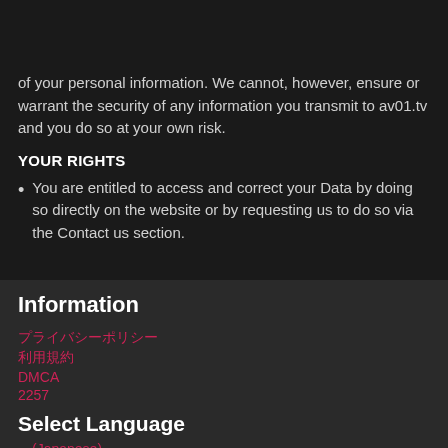AV01.tv logo and hamburger menu
of your personal information. We cannot, however, ensure or warrant the security of any information you transmit to av01.tv and you do so at your own risk.
YOUR RIGHTS
You are entitled to access and correct your Data by doing so directly on the website or by requesting us to do so via the Contact us section.
Information
プライバシーポリシー
利用規約
DMCA
2257
Select Language
(Japanese)
English